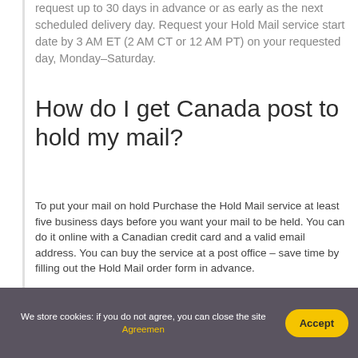request up to 30 days in advance or as early as the next scheduled delivery day. Request your Hold Mail service start date by 3 AM ET (2 AM CT or 12 AM PT) on your requested day, Monday–Saturday.
How do I get Canada post to hold my mail?
To put your mail on hold Purchase the Hold Mail service at least five business days before you want your mail to be held. You can do it online with a Canadian credit card and a valid email address. You can buy the service at a post office – save time by filling out the Hold Mail order form in advance.
We store cookies: if you do not agree, you can close the site Agreemen